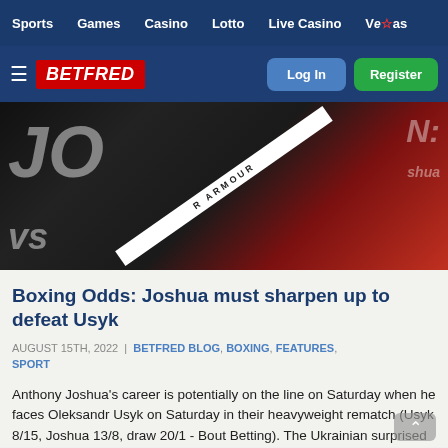Sports | Games | Casino | Lotto | Live Casino | Vegas
[Figure (logo): Betfred logo with hamburger menu, Log In and Register buttons on dark blue background]
[Figure (photo): Two boxers at a press event, one in black with Under Armour sash, one in red jacket, against JO vs U signage backdrop]
Boxing Odds: Joshua must sharpen up to defeat Usyk
AUGUST 15TH, 2022 | BETFRED BLOG, BOXING, FEATURES, SPORT
Anthony Joshua's career is potentially on the line on Saturday when he faces Oleksandr Usyk on Saturday in their heavyweight rematch (Usyk 8/15, Joshua 13/8, draw 20/1 - Bout Betting). The Ukrainian surprised